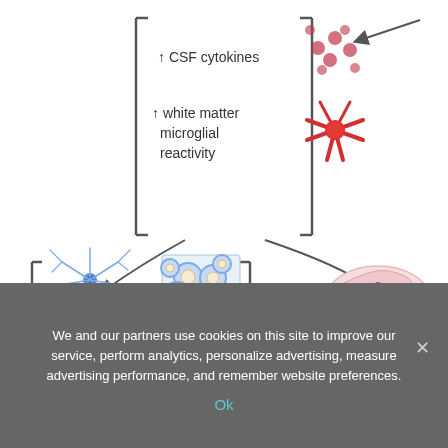[Figure (infographic): Medical infographic showing effects: top center box with upward arrows for CSF cytokines (illustrated with red dots) and white matter microglial reactivity (illustrated with red star-shaped microglia cell), with curved arrows pointing down-left and down-right. Bottom left bracket shows downward arrows for oligodendrocytes (blue neuron illustration) and myelinated axons (blue ring cells illustration). Bottom right shows downward arrow for hippocampal neurogenesis (illustration of hippocampus with purple cells).]
In a recent study published in the journal Cell, researchers explored neurological symptoms and subsequent cognitive...
We and our partners use cookies on this site to improve our service, perform analytics, personalize advertising, measure advertising performance, and remember website preferences.